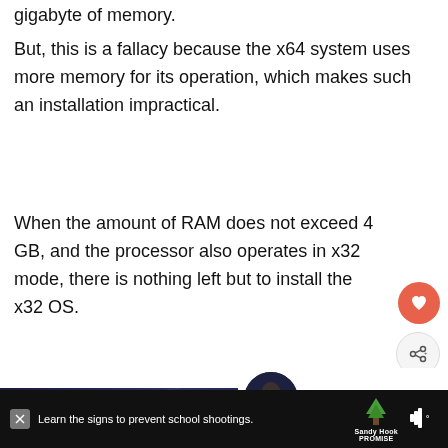gigabyte of memory.
But, this is a fallacy because the x64 system uses more memory for its operation, which makes such an installation impractical.
When the amount of RAM does not exceed 4 GB, and the processor also operates in x32 mode, there is nothing left but to install the x32 OS.
[Figure (photo): Dark blue/navy background image, possibly night sky or electronic surface with light streaks]
[Figure (infographic): What's Next card showing thumbnail of person and text: WHAT'S NEXT → Why Aren't There 128-Bi...]
[Figure (infographic): Advertisement banner: Learn the signs to prevent school shootings. Sandy Hook Promise logo. Close button and mute icon.]